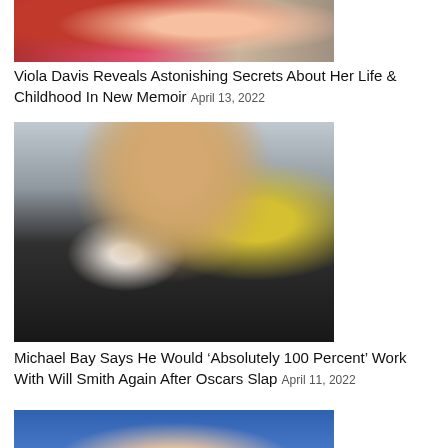[Figure (photo): Cropped top of a person wearing red, partially visible from shoulders up, against a dark background]
Viola Davis Reveals Astonishing Secrets About Her Life & Childhood In New Memoir April 13, 2022
[Figure (photo): Michael Bay, a man with shoulder-length blonde hair, wearing a dark pinstripe suit and grey tie, standing against a light blue-grey and yellow background]
Michael Bay Says He Would ‘Absolutely 100 Percent’ Work With Will Smith Again After Oscars Slap April 11, 2022
[Figure (photo): Partial view of a person against a blue curtain background, only the top of the head visible]